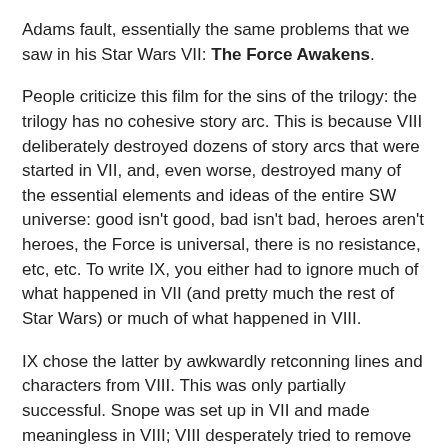Adams fault, essentially the same problems that we saw in his Star Wars VII: The Force Awakens.
People criticize this film for the sins of the trilogy: the trilogy has no cohesive story arc. This is because VIII deliberately destroyed dozens of story arcs that were started in VII, and, even worse, destroyed many of the essential elements and ideas of the entire SW universe: good isn't good, bad isn't bad, heroes aren't heroes, the Force is universal, there is no resistance, etc, etc. To write IX, you either had to ignore much of what happened in VII (and pretty much the rest of Star Wars) or much of what happened in VIII.
IX chose the latter by awkwardly retconning lines and characters from VIII. This was only partially successful. Snope was set up in VII and made meaningless in VIII; VIII desperately tried to remove the concept of overarching villains from the series, which was terrible. So IX tried to shoehorn in the old emperor Palpatine as pulling the strings behind Snope, but it did so quite badly, without any surprise reveal and in without any real threat or dramatic presence. In VII, Rey had some kind of important background and story;